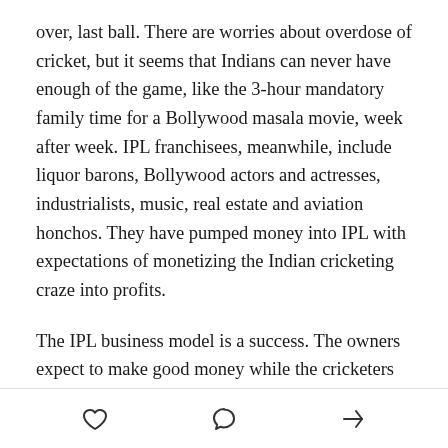over, last ball. There are worries about overdose of cricket, but it seems that Indians can never have enough of the game, like the 3-hour mandatory family time for a Bollywood masala movie, week after week. IPL franchisees, meanwhile, include liquor barons, Bollywood actors and actresses, industrialists, music, real estate and aviation honchos. They have pumped money into IPL with expectations of monetizing the Indian cricketing craze into profits.
The IPL business model is a success. The owners expect to make good money while the cricketers are happy signing the million dollar contracts for just two months of work. The IPL has created a bigger corpus of players, overseas and Indian, making a decent living out of the
[heart icon] [comment icon] [share icon]